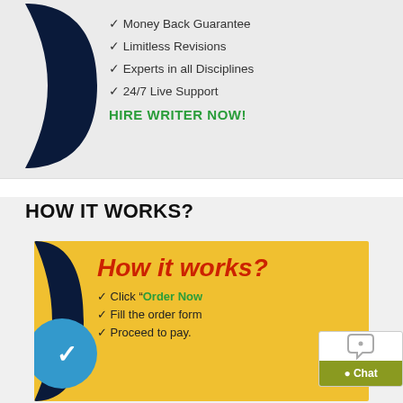[Figure (infographic): Writing service ad banner with dark navy shape on left and checklist items on grey background]
✓ Money Back Guarantee
✓ Limitless Revisions
✓ Experts in all Disciplines
✓ 24/7 Live Support
HIRE WRITER NOW!
HOW IT WORKS?
[Figure (infographic): Yellow 'How it works?' infographic box with red italic title, blue circle icon, and checklist steps]
✓ Click "Order Now"
✓ Fill the order form
✓ Proceed to pay.